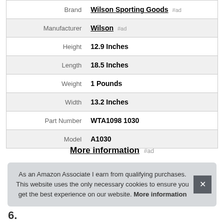| Attribute | Value |
| --- | --- |
| Brand | Wilson Sporting Goods #ad |
| Manufacturer | Wilson #ad |
| Height | 12.9 Inches |
| Length | 18.5 Inches |
| Weight | 1 Pounds |
| Width | 13.2 Inches |
| Part Number | WTA1098 1030 |
| Model | A1030 |
More information #ad
As an Amazon Associate I earn from qualifying purchases. This website uses the only necessary cookies to ensure you get the best experience on our website. More information